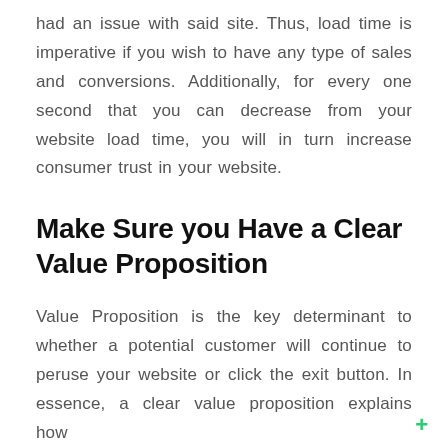had an issue with said site. Thus, load time is imperative if you wish to have any type of sales and conversions. Additionally, for every one second that you can decrease from your website load time, you will in turn increase consumer trust in your website.
Make Sure you Have a Clear Value Proposition
Value Proposition is the key determinant to whether a potential customer will continue to peruse your website or click the exit button. In essence, a clear value proposition explains how